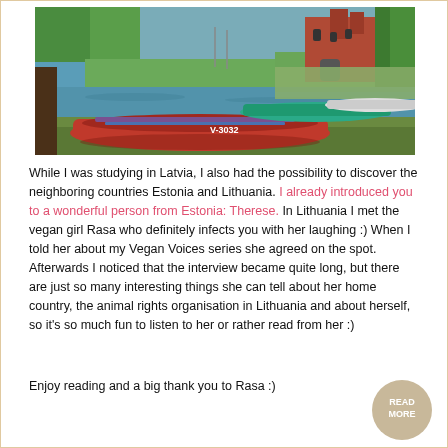[Figure (photo): A red wooden rowboat labeled V-3032 moored at a lake shore with green reeds; additional colorful boats behind it, and a red brick castle or church visible in background among green trees.]
While I was studying in Latvia, I also had the possibility to discover the neighboring countries Estonia and Lithuania. I already introduced you to a wonderful person from Estonia: Therese. In Lithuania I met the vegan girl Rasa who definitely infects you with her laughing :) When I told her about my Vegan Voices series she agreed on the spot. Afterwards I noticed that the interview became quite long, but there are just so many interesting things she can tell about her home country, the animal rights organisation in Lithuania and about herself, so it's so much fun to listen to her or rather read from her :)
Enjoy reading and a big thank you to Rasa :)
[Figure (other): READ MORE button as a sandy/beige circle]